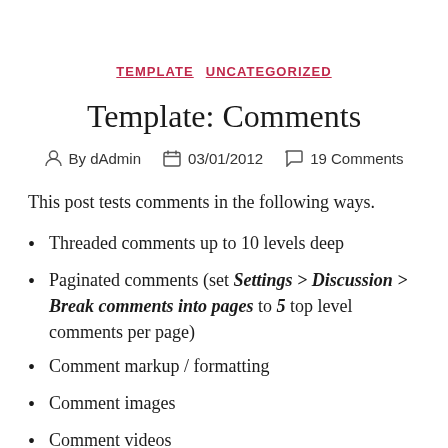TEMPLATE   UNCATEGORIZED
Template: Comments
By dAdmin   03/01/2012   19 Comments
This post tests comments in the following ways.
Threaded comments up to 10 levels deep
Paginated comments (set Settings > Discussion > Break comments into pages to 5 top level comments per page)
Comment markup / formatting
Comment images
Comment videos